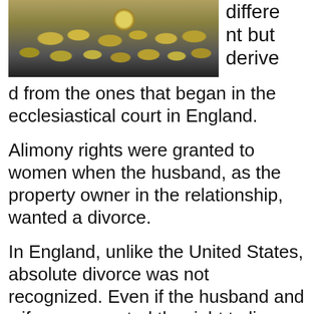[Figure (photo): A pile of coins and currency stacked on a reflective surface, showing various denominations including what appears to be a euro coin and US dollar bills/coins.]
different but derived from the ones that began in the ecclesiastical court in England.
Alimony rights were granted to women when the husband, as the property owner in the relationship, wanted a divorce.
In England, unlike the United States, absolute divorce was not recognized. Even if the husband and wife were granted the right to live apart, they were still recognized as married. Under alimony rights, a woman was entitled to an allowance for the rest of her life.